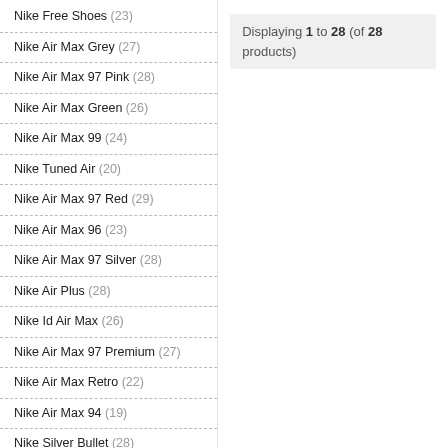Nike Free Shoes (23)
Nike Air Max Grey (27)
Nike Air Max 97 Pink (28)
Nike Air Max Green (26)
Nike Air Max 99 (24)
Nike Tuned Air (20)
Nike Air Max 97 Red (29)
Nike Air Max 96 (23)
Nike Air Max 97 Silver (28)
Nike Air Plus (28)
Nike Id Air Max (26)
Nike Air Max 97 Premium (27)
Nike Air Max Retro (22)
Nike Air Max 94 (19)
Nike Silver Bullet (28)
Displaying 1 to 28 (of 28 products)